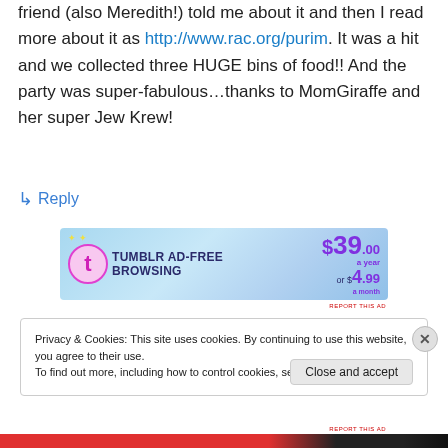friend (also Meredith!) told me about it and then I read more about it as http://www.rac.org/purim. It was a hit and we collected three HUGE bins of food!! And the party was super-fabulous…thanks to MomGiraffe and her super Jew Krew!
↳ Reply
[Figure (screenshot): Tumblr Ad-Free Browsing advertisement banner with pink Tumblr logo, price $39.00 a year or $4.99 a month]
REPORT THIS AD
Privacy & Cookies: This site uses cookies. By continuing to use this website, you agree to their use.
To find out more, including how to control cookies, see here: Cookie Policy
Close and accept